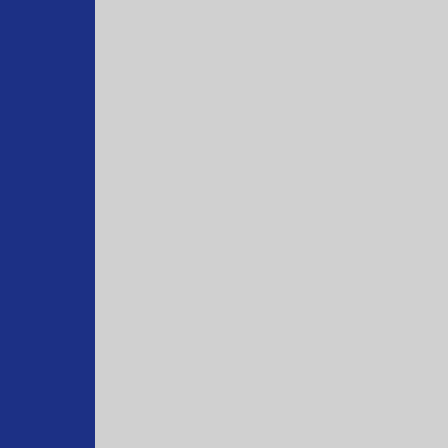you and yo you are no and the ch pounding you have n sheep rush not scream be that yo my name!
< New text box >
<<
Sr. Margar and living the Monas has kept a “Sparkles prose, and & New Tes webpage:
New text box >>